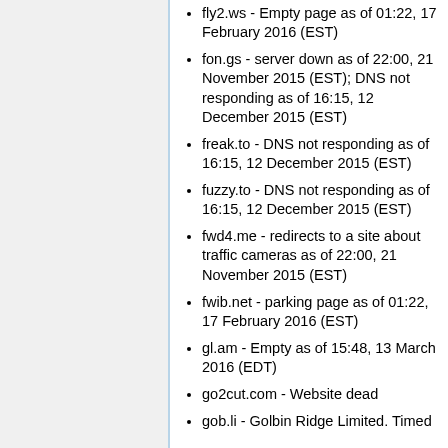fly2.ws - Empty page as of 01:22, 17 February 2016 (EST)
fon.gs - server down as of 22:00, 21 November 2015 (EST); DNS not responding as of 16:15, 12 December 2015 (EST)
freak.to - DNS not responding as of 16:15, 12 December 2015 (EST)
fuzzy.to - DNS not responding as of 16:15, 12 December 2015 (EST)
fwd4.me - redirects to a site about traffic cameras as of 22:00, 21 November 2015 (EST)
fwib.net - parking page as of 01:22, 17 February 2016 (EST)
gl.am - Empty as of 15:48, 13 March 2016 (EDT)
go2cut.com - Website dead
gob.li - Golbin Ridge Limited. Timed